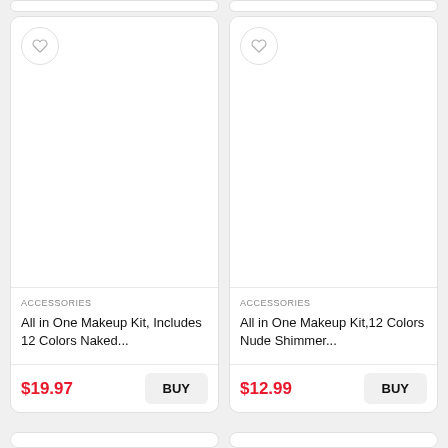[Figure (screenshot): E-commerce product listing screenshot showing two product cards side by side]
ACCESSORIES
All in One Makeup Kit, Includes 12 Colors Naked...
$19.97
ACCESSORIES
All in One Makeup Kit,12 Colors Nude Shimmer...
$12.99